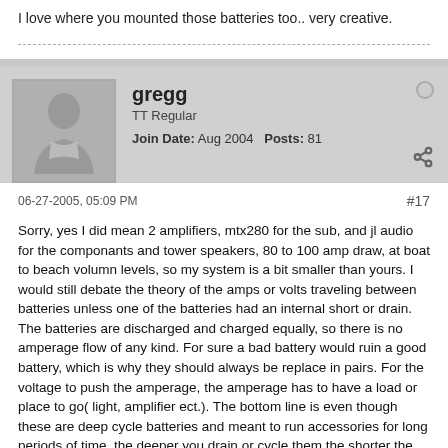I love where you mounted those batteries too.. very creative.
gregg
TT Regular
Join Date: Aug 2004   Posts: 81
06-27-2005, 05:09 PM  #17
Sorry, yes I did mean 2 amplifiers, mtx280 for the sub, and jl audio for the componants and tower speakers, 80 to 100 amp draw, at boat to beach volumn levels, so my system is a bit smaller than yours. I would still debate the theory of the amps or volts traveling between batteries unless one of the batteries had an internal short or drain. The batteries are discharged and charged equally, so there is no amperage flow of any kind. For sure a bad battery would ruin a good battery, which is why they should always be replace in pairs. For the voltage to push the amperage, the amperage has to have a load or place to go( light, amplifier ect.). The bottom line is even though these are deep cycle batteries and meant to run accessories for long periods of time, the deeper you drain or cycle them the shorter the life due to heat and sulfation of the plates. In my opinion or theory if you will, your system would actually work your batteries harder because you could and probably do completely discharge one of your batteries. When you